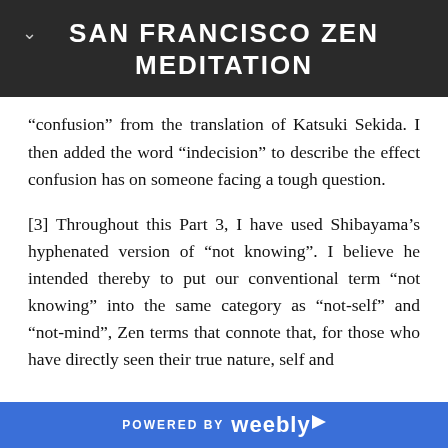SAN FRANCISCO ZEN MEDITATION
“confusion” from the translation of Katsuki Sekida. I then added the word “indecision” to describe the effect confusion has on someone facing a tough question.
[3] Throughout this Part 3, I have used Shibayama’s hyphenated version of “not knowing”. I believe he intended thereby to put our conventional term “not knowing” into the same category as “not-self” and “not-mind”, Zen terms that connote that, for those who have directly seen their true nature, self and
POWERED BY weebly